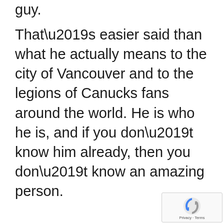guy.
That’s easier said than what he actually means to the city of Vancouver and to the legions of Canucks fans around the world. He is who he is, and if you don’t know him already, then you don’t know an amazing person.
[Figure (other): reCAPTCHA badge with privacy and terms links]